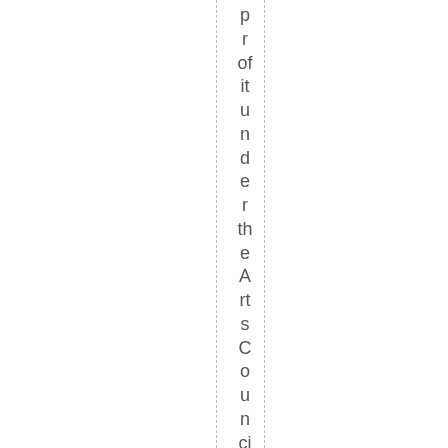profit under the Arts Council of South